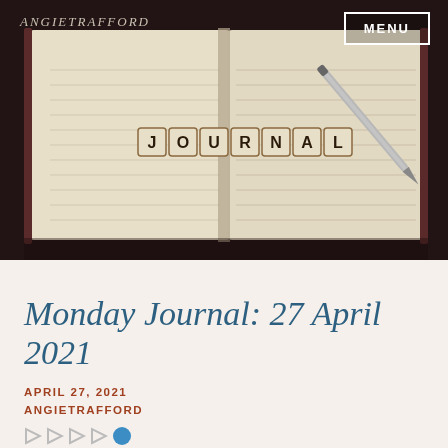ANGIETRAFFORD
[Figure (photo): Open journal/notebook with Scrabble-tile letters spelling JOURNAL and a pen resting on it, on a dark wooden background]
Monday Journal: 27 April 2021
APRIL 27, 2021
ANGIETRAFFORD